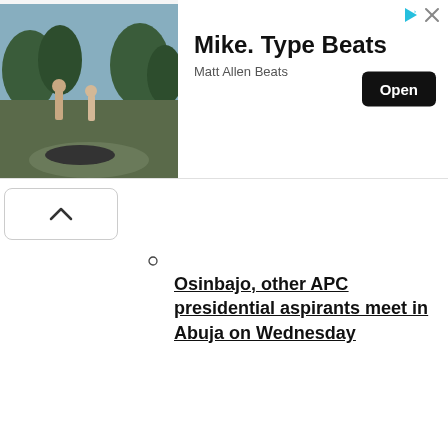[Figure (photo): Advertisement banner with a movie/outdoor scene photo on the left showing two people standing near trees, and ad text on the right reading 'Mike. Type Beats' by Matt Allen Beats with an Open button]
○
Osinbajo, other APC presidential aspirants meet in Abuja on Wednesday